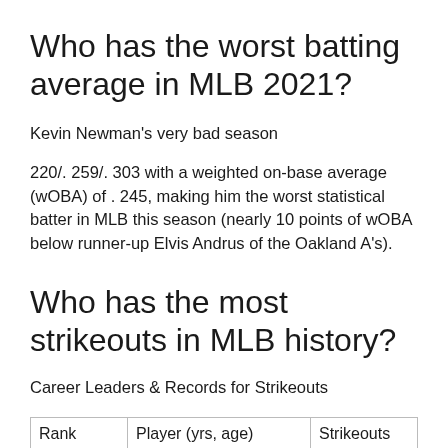Who has the worst batting average in MLB 2021?
Kevin Newman's very bad season
220/. 259/. 303 with a weighted on-base average (wOBA) of . 245, making him the worst statistical batter in MLB this season (nearly 10 points of wOBA below runner-up Elvis Andrus of the Oakland A's).
Who has the most strikeouts in MLB history?
Career Leaders & Records for Strikeouts
| Rank | Player (yrs, age) | Strikeouts |
| --- | --- | --- |